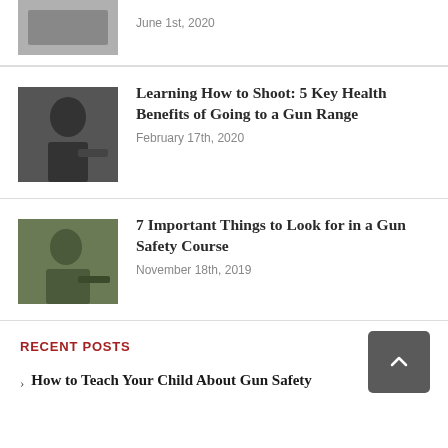[Figure (photo): Partial photo of a gun/shooting topic, cropped at top]
June 1st, 2020
Learning How to Shoot: 5 Key Health Benefits of Going to a Gun Range
February 17th, 2020
[Figure (photo): Woman aiming a handgun at a shooting range]
7 Important Things to Look for in a Gun Safety Course
November 18th, 2019
[Figure (photo): Woman shooting outdoors in a field]
Recent Posts
How to Teach Your Child About Gun Safety